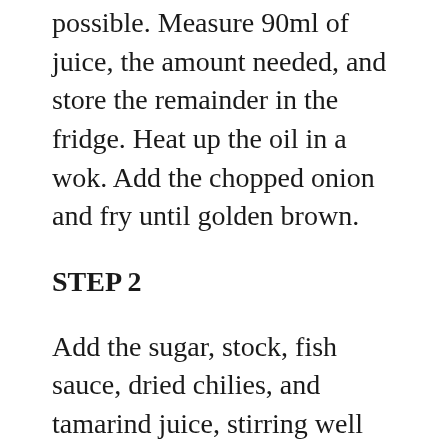possible. Measure 90ml of juice, the amount needed, and store the remainder in the fridge. Heat up the oil in a wok. Add the chopped onion and fry until golden brown.
STEP 2
Add the sugar, stock, fish sauce, dried chilies, and tamarind juice, stirring well until the sugar dissolves. Bring to the boil.
STEP 3
Add the prawns, garlic, and shallots. Stir-fry until the prawns are cooked, about 3-4 minutes. Garnish with the spring onion